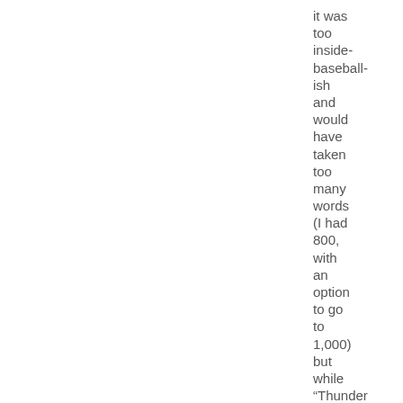it was too inside-baseball-ish and would have taken too many words (I had 800, with an option to go to 1,000) but while “Thunder Road” is